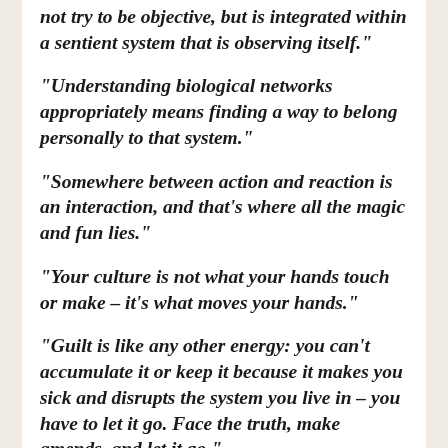“not try to be objective, but is integrated within a sentient system that is observing itself.”
“Understanding biological networks appropriately means finding a way to belong personally to that system.”
“Somewhere between action and reaction is an interaction, and that’s where all the magic and fun lies.”
“Your culture is not what your hands touch or make – it’s what moves your hands.”
“Guilt is like any other energy: you can’t accumulate it or keep it because it makes you sick and disrupts the system you live in – you have to let it go. Face the truth, make amends, and let it go.”